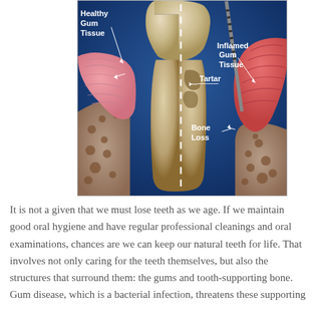[Figure (illustration): Medical illustration showing a cross-section of a tooth and surrounding gum tissue. The left side shows healthy gum tissue (pink, well-attached). The right side shows inflamed gum tissue (red, swollen) with a dental probe inserted. Labels point to: Healthy Gum Tissue (left), Inflamed Gum Tissue (right), Tartar (on tooth root center), Bone Loss (lower right). A dashed white vertical line divides the healthy from the diseased side. The background is dark blue.]
It is not a given that we must lose teeth as we age. If we maintain good oral hygiene and have regular professional cleanings and oral examinations, chances are we can keep our natural teeth for life. That involves not only caring for the teeth themselves, but also the structures that surround them: the gums and tooth-supporting bone. Gum disease, which is a bacterial infection, threatens these supporting